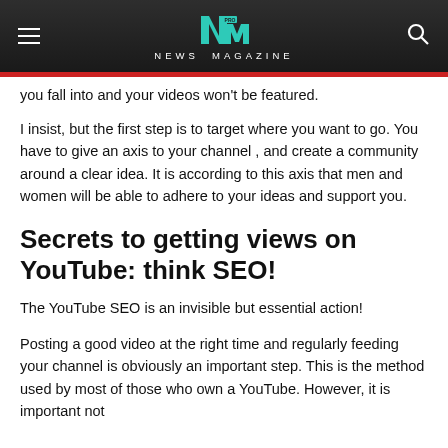NEWS MAGAZINE
you fall into and your videos won't be featured.
I insist, but the first step is to target where you want to go. You have to give an axis to your channel , and create a community around a clear idea. It is according to this axis that men and women will be able to adhere to your ideas and support you.
Secrets to getting views on YouTube: think SEO!
The YouTube SEO is an invisible but essential action!
Posting a good video at the right time and regularly feeding your channel is obviously an important step. This is the method used by most of those who own a YouTube. However, it is important not